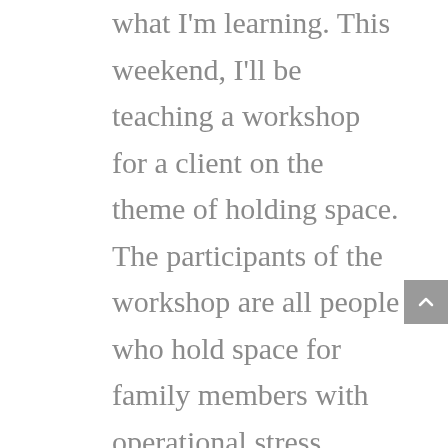what I'm learning. This weekend, I'll be teaching a workshop for a client on the theme of holding space. The participants of the workshop are all people who hold space for family members with operational stress injuries (specifically those who've served in military combat). I am humbled that I get the chance to work with these people, because I am sure that many of them have learned much more than I have about what it takes to hold space in difficult circumstances, and I have a lot